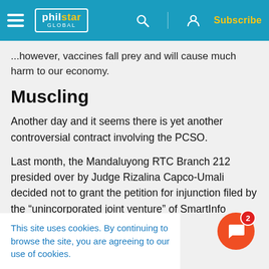philstar GLOBAL — Subscribe
...however, vaccines fall prey and will cause much harm to our economy.
Muscling
Another day and it seems there is yet another controversial contract involving the PCSO.
Last month, the Mandaluyong RTC Branch 212 presided over by Judge Rizalina Capco-Umali decided not to grant the petition for injunction filed by the “unincorporated joint venture” of SmartInfo
This site uses cookies. By continuing to browse the site, you are agreeing to our use of cookies.